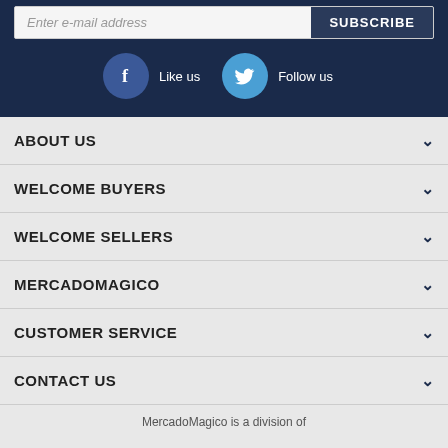Enter e-mail address
SUBSCRIBE
[Figure (illustration): Facebook and Twitter social media icons with Like us and Follow us labels on dark navy background]
ABOUT US
WELCOME BUYERS
WELCOME SELLERS
MERCADOMAGICO
CUSTOMER SERVICE
CONTACT US
MercadoMagico is a division of